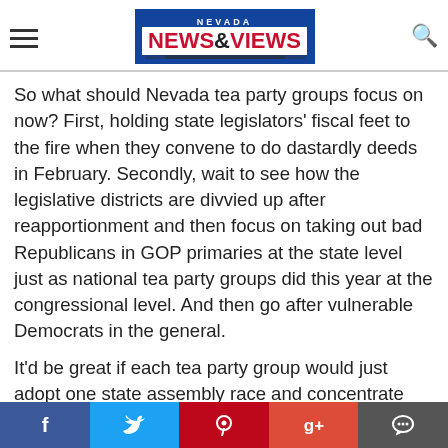[Figure (logo): Nevada News & Views website header with hamburger menu, logo with Nevada flag background, and search icon]
So what should Nevada tea party groups focus on now? First, holding state legislators' fiscal feet to the fire when they convene to do dastardly deeds in February. Secondly, wait to see how the legislative districts are divvied up after reapportionment and then focus on taking out bad Republicans in GOP primaries at the state level just as national tea party groups did this year at the congressional level. And then go after vulnerable Democrats in the general.
It'd be great if each tea party group would just adopt one state assembly race and concentrate 100% their efforts to recruiting a viable tea party candidate and winning that seat. The natural urge will be to jump into the
[Figure (infographic): Social media sharing bar with Facebook, Twitter, Pinterest, Google+, and Comments buttons]